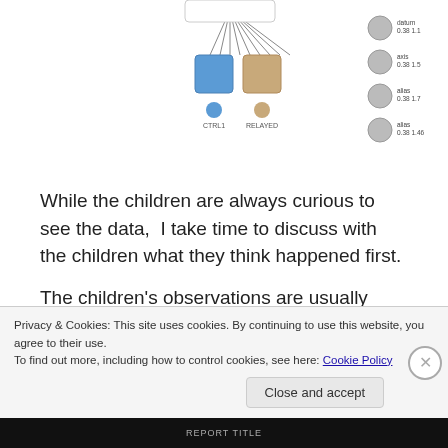[Figure (network-graph): A network/tree diagram showing nodes connected by lines. Two main rectangular nodes (blue and tan/brown colored) are shown in the center with multiple lines connecting upward to a larger node. Below each rectangle is a small circle. On the right side, there are 4 stacked circles with small text labels next to each.]
While the children are always curious to see the data,  I take time to discuss with the children what they think happened first.
The children's observations are usually accurate of what happened in the group discussion. Yet it took
Privacy & Cookies: This site uses cookies. By continuing to use this website, you agree to their use.
To find out more, including how to control cookies, see here: Cookie Policy